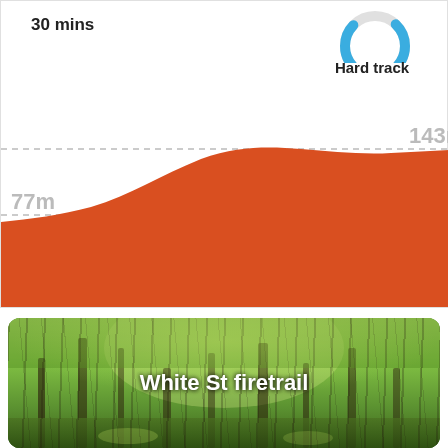30 mins
[Figure (donut-chart): Partial blue donut/ring chart indicating Hard track difficulty]
Hard track
[Figure (area-chart): Red/orange filled elevation profile rising from 77m to a peak around 143m]
[Figure (photo): Forest trail photo showing green tree canopy overhead with light filtering through, labeled White St firetrail]
White St firetrail